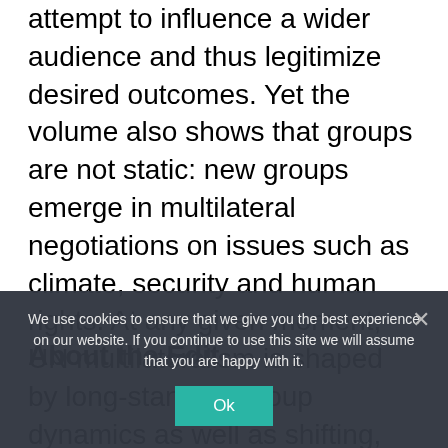attempt to influence a wider audience and thus legitimize desired outcomes. Yet the volume also shows that groups are not static: new groups emerge in multilateral negotiations on issues such as climate, security and human rights. At any given moment, UN multilateralism is shaped by long-standing group dynamics as well as shifting, ad-hoc groupings. These intergroup dynamics are key to understanding diplomatic practice at the UN.
About the Edit...
We use cookies to ensure that we give you the best experience on our website. If you continue to use this site we will assume that you are happy with it.